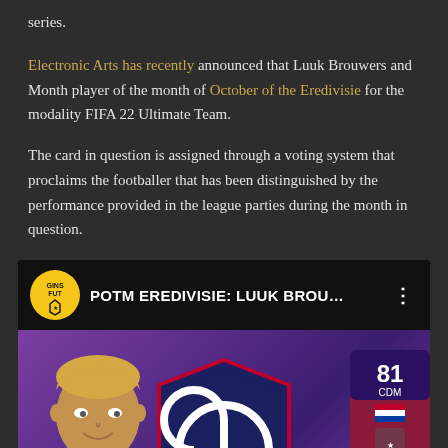series.
Electronic Arts has recently announced that Luuk Brouwers and Month player of the month of October of the Eredivisie for the modality FIFA 22 Ultimate Team.
The card in question is assigned through a voting system that proclaims the footballer that has been distinguished by the performance provided in the league parties during the month in question.
[Figure (screenshot): Video thumbnail/player embed showing 'POTM EREDIVISIE: LUUK BROU...' with a yellow GINSFUT channel icon on the left, dots menu on the right, and below a purple-background image showing a player's face on the left, an Eredivisie badge in the center, and a FIFA card showing '81 CDM' on the right.]